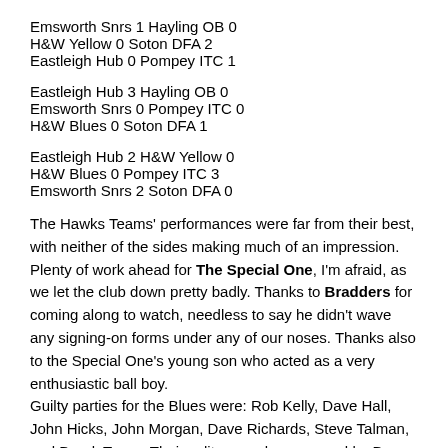Emsworth Snrs 1 Hayling OB 0
H&W Yellow 0 Soton DFA 2
Eastleigh Hub 0 Pompey ITC 1
Eastleigh Hub 3 Hayling OB 0
Emsworth Snrs 0 Pompey ITC 0
H&W Blues 0 Soton DFA 1
Eastleigh Hub 2 H&W Yellow 0
H&W Blues 0 Pompey ITC 3
Emsworth Snrs 2 Soton DFA 0
The Hawks Teams' performances were far from their best, with neither of the sides making much of an impression. Plenty of work ahead for The Special One, I'm afraid, as we let the club down pretty badly. Thanks to Bradders for coming along to watch, needless to say he didn't wave any signing-on forms under any of our noses. Thanks also to the Special One's young son who acted as a very enthusiastic ball boy.
Guilty parties for the Blues were: Rob Kelly, Dave Hall, John Hicks, John Morgan, Dave Richards, Steve Talman, and Derek Trapp. Their solitary goal was scored by Dave